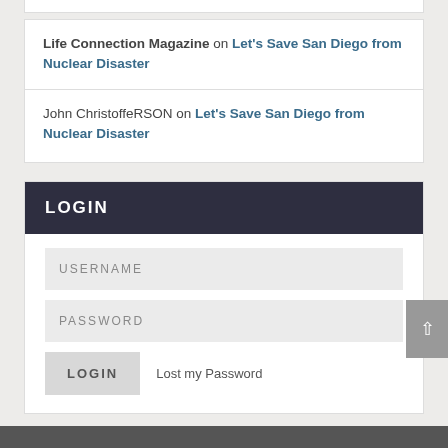Life Connection Magazine on Let's Save San Diego from Nuclear Disaster
John ChristoffeRSON on Let's Save San Diego from Nuclear Disaster
LOGIN
USERNAME
PASSWORD
LOGIN  Lost my Password